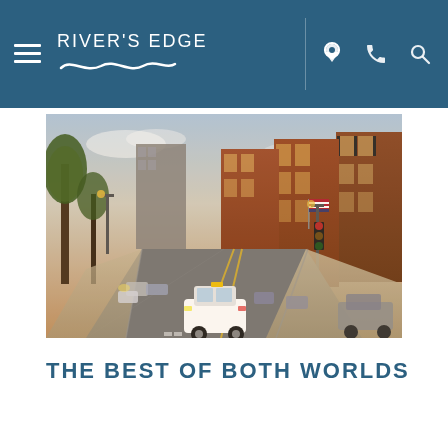RIVER'S EDGE — Navigation bar with hamburger menu, logo, location icon, phone icon, search icon
[Figure (photo): Street-level view of a tree-lined urban street with historic red-brick row houses and brownstones. Cars including a white taxi travel down the road. An American flag is visible. Warm evening light. Boston neighborhood.]
THE BEST OF BOTH WORLDS